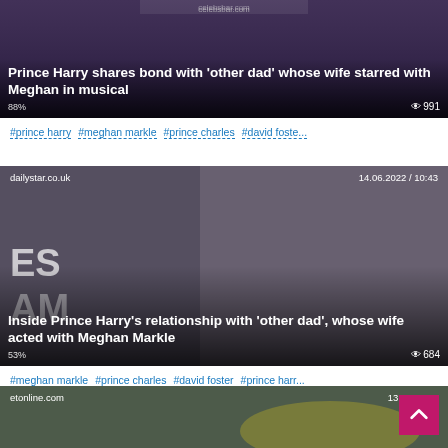[Figure (screenshot): News article thumbnail: two men talking outdoors, dark overlay with headline text. Source: celebsbar.com. Views: 991. Percent: 88%.]
#prince harry  #meghan markle  #prince charles  #david foste...
[Figure (screenshot): News article thumbnail: daily star article with photo of older man in sunglasses and Prince Harry talking. Source: dailystar.co.uk. Date: 14.06.2022 / 10:43. Views: 684. Percent: 53%.]
#meghan markle  #prince charles  #david foster  #prince harr...
[Figure (screenshot): News article thumbnail: man in athletic wear and helmet outdoors. Source: etonline.com. Date: 13.06.202... Partially visible.]